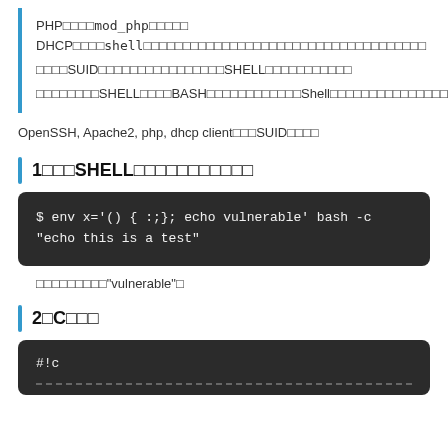PHP□□□□mod_php□□□□□ DHCP□□□□shell□□□□□□□□□□□□□□□□□□□□□□□□□□□□□□□□□□□□
□□□□SUID□□□□□□□□□□□□□□□□SHELL□□□□□□□□□□□
□□□□□□□□SHELL□□□□BASH□□□□□□□□□□□□Shell□□□□□□□□□□□□□□□□
OpenSSH, Apache2, php, dhcp client□□□SUID□□□□
1□□□SHELL□□□□□□□□□□□
$ env x='() { :;}; echo vulnerable' bash -c
"echo this is a test"
□□□□□□□□□"vulnerable"□
2□C□□□
#!c
-----------------------------------